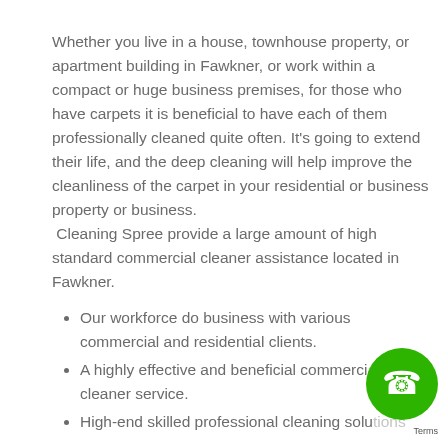Whether you live in a house, townhouse property, or apartment building in Fawkner, or work within a compact or huge business premises, for those who have carpets it is beneficial to have each of them professionally cleaned quite often. It's going to extend their life, and the deep cleaning will help improve the cleanliness of the carpet in your residential or business property or business. Cleaning Spree provide a large amount of high standard commercial cleaner assistance located in Fawkner.
Our workforce do business with various commercial and residential clients.
A highly effective and beneficial commercial cleaner service.
High-end skilled professional cleaning solutions available at a premium level.